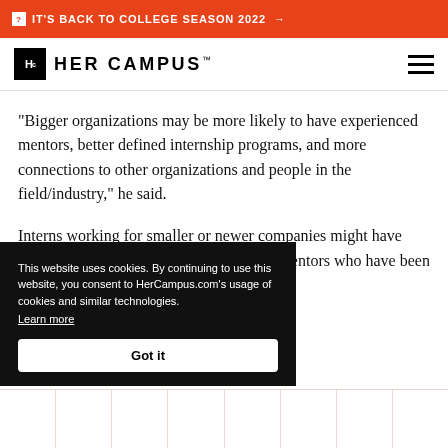IT'S BACK TO COLLEGE SEASON 2022 →
[Figure (logo): Her Campus logo with Hc icon and wordmark]
"Bigger organizations may be more likely to have experienced mentors, better defined internship programs, and more connections to other organizations and people in the field/industry," he said.
Interns working for smaller or newer companies might have trouble finding big name connections or mentors who have been through the industry grind.
This website uses cookies. By continuing to use this website, you consent to HerCampus.com's usage of cookies and similar technologies. Learn more Got it